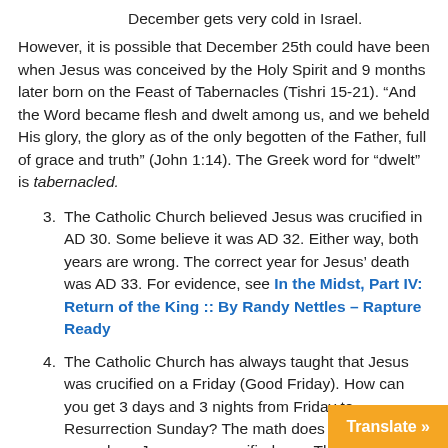December gets very cold in Israel.
However, it is possible that December 25th could have been when Jesus was conceived by the Holy Spirit and 9 months later born on the Feast of Tabernacles (Tishri 15-21). “And the Word became flesh and dwelt among us, and we beheld His glory, the glory as of the only begotten of the Father, full of grace and truth” (John 1:14). The Greek word for “dwelt” is tabernacled.
The Catholic Church believed Jesus was crucified in AD 30. Some believe it was AD 32. Either way, both years are wrong. The correct year for Jesus’ death was AD 33. For evidence, see In the Midst, Part IV: Return of the King :: By Randy Nettles – Rapture Ready
The Catholic Church has always taught that Jesus was crucified on a Friday (Good Friday). How can you get 3 days and 3 nights from Friday to Resurrection Sunday? The math does not add up; it never has. Jesus was crucified on a Thursday. For proof, see Three Day Three Night Mystery – Cr...